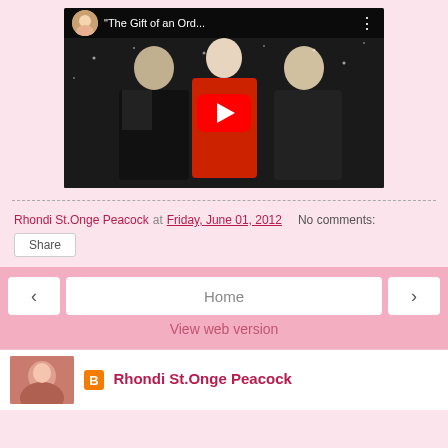[Figure (screenshot): YouTube video thumbnail showing title 'The Gift of an Ord...' with three people in winter clothing standing in snow, red YouTube play button overlay in center]
Rhondi St.Onge Peacock at Friday, June 01, 2012   No comments:
Share
Home
View web version
Rhondi St.Onge Peacock